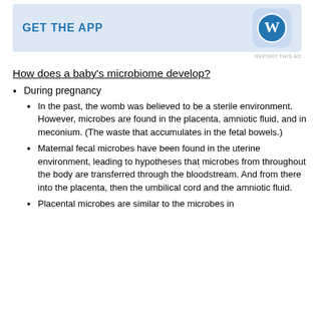[Figure (logo): WordPress app advertisement banner with 'GET THE APP' text and WordPress logo icon]
REPORT THIS AD
How does a baby's microbiome develop?
During pregnancy
In the past, the womb was believed to be a sterile environment. However, microbes are found in the placenta, amniotic fluid, and in meconium. (The waste that accumulates in the fetal bowels.)
Maternal fecal microbes have been found in the uterine environment, leading to hypotheses that microbes from throughout the body are transferred through the bloodstream. And from there into the placenta, then the umbilical cord and the amniotic fluid.
Placental microbes are similar to the microbes in